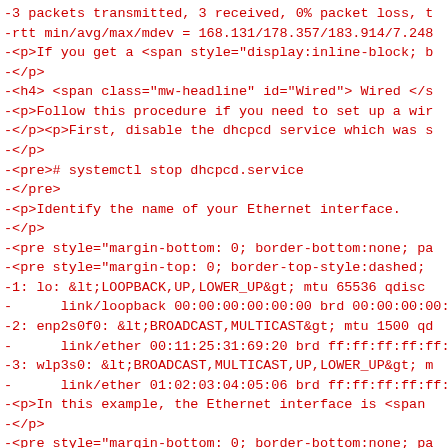-3 packets transmitted, 3 received, 0% packet loss, t
-rtt min/avg/max/mdev = 168.131/178.357/183.914/7.248
-<p>If you get a <span style="display:inline-block; b
-</p>
-<h4> <span class="mw-headline" id="Wired"> Wired </s
-<p>Follow this procedure if you need to set up a wir
-</p><p>First, disable the dhcpcd service which was s
-</p>
-<pre># systemctl stop dhcpcd.service
-</pre>
-<p>Identify the name of your Ethernet interface.
-</p>
-<pre style="margin-bottom: 0; border-bottom:none; pa
-<pre style="margin-top: 0; border-top-style:dashed;
-1: lo: &lt;LOOPBACK,UP,LOWER_UP&gt; mtu 65536 qdisc
-      link/loopback 00:00:00:00:00:00 brd 00:00:00:00:
-2: enp2s0f0: &lt;BROADCAST,MULTICAST&gt; mtu 1500 qd
-      link/ether 00:11:25:31:69:20 brd ff:ff:ff:ff:ff:
-3: wlp3s0: &lt;BROADCAST,MULTICAST,UP,LOWER_UP&gt; m
-      link/ether 01:02:03:04:05:06 brd ff:ff:ff:ff:ff:
-<p>In this example, the Ethernet interface is <span
-</p>
-<pre style="margin-bottom: 0; border-bottom:none; pa
-<pre style="margin-top: 0; border-top-style:dashed;
-wlp3s0      IEEE 802.11bgn  ESSID:"NETGEAR97"
-            Mode:Managed  Frequency:2.427 GHz  Access
-            Bit Rate=65 Mb/s    Tx-Power=16 dBm
-            Retry  long limit:7   RTS thr:off   Fragme
-            Power Management:on
-            Link Quality=61/70  Signal level=-49 dBm